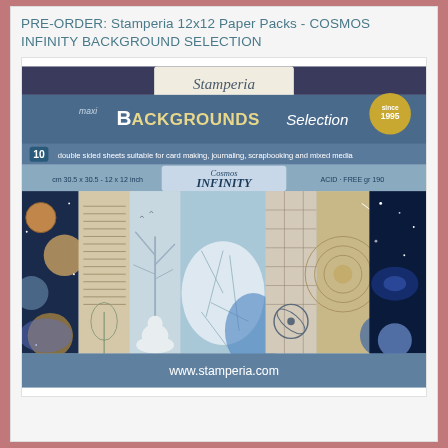PRE-ORDER: Stamperia 12x12 Paper Packs - COSMOS INFINITY BACKGROUND SELECTION
[Figure (photo): Product image of Stamperia Maxi Backgrounds Selection paper pack for Cosmos Infinity collection. Shows 10 double sided sheets suitable for card making, journaling, scrapbooking and mixed media. cm 30.5 x 30.5 - 12x12 inch. Acid-Free gr 190. Features galaxy, planet, polar bear, and cosmic imagery in blue, gold, and white tones. Website: www.stamperia.com]